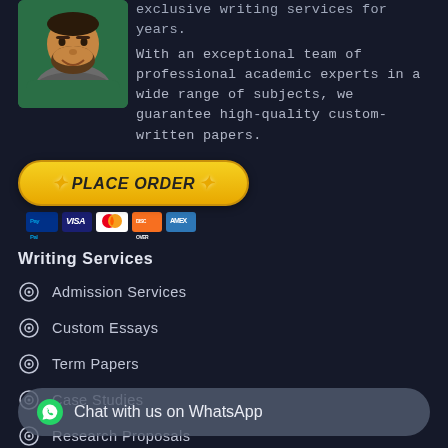[Figure (photo): Person wearing a green hoodie with a scarf, smiling, partial view]
exclusive writing services for years. With an exceptional team of professional academic experts in a wide range of subjects, we guarantee high-quality custom-written papers.
[Figure (other): PLACE ORDER button with payment icons (PayPal, Visa, Mastercard, Discover, Amex)]
Writing Services
Admission Services
Custom Essays
Term Papers
Case Studies
Research Proposals
Bibliographies
Dissertation Services
Chat with us on WhatsApp